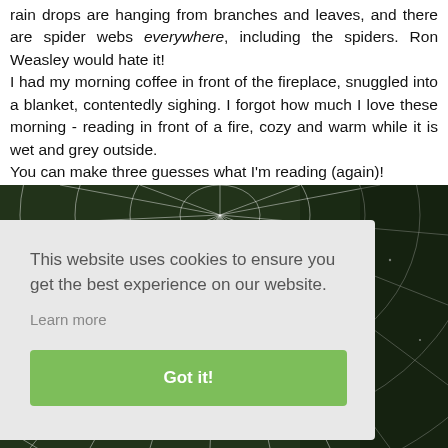rain drops are hanging from branches and leaves, and there are spider webs everywhere, including the spiders. Ron Weasley would hate it!
I had my morning coffee in front of the fireplace, snuggled into a blanket, contentedly sighing. I forgot how much I love these morning - reading in front of a fire, cozy and warm while it is wet and grey outside.
You can make three guesses what I'm reading (again)!
[Figure (photo): Close-up photo of a spider web with water droplets, dark green foliage background, partially covered by a cookie consent overlay]
This website uses cookies to ensure you get the best experience on our website.
Learn more
Got it!